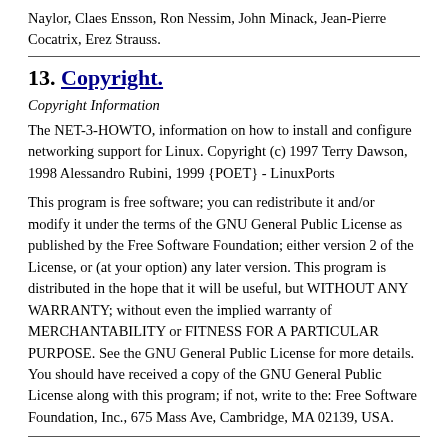Naylor, Claes Ensson, Ron Nessim, John Minack, Jean-Pierre Cocatrix, Erez Strauss.
13. Copyright.
Copyright Information
The NET-3-HOWTO, information on how to install and configure networking support for Linux. Copyright (c) 1997 Terry Dawson, 1998 Alessandro Rubini, 1999 {POET} - LinuxPorts
This program is free software; you can redistribute it and/or modify it under the terms of the GNU General Public License as published by the Free Software Foundation; either version 2 of the License, or (at your option) any later version. This program is distributed in the hope that it will be useful, but WITHOUT ANY WARRANTY; without even the implied warranty of MERCHANTABILITY or FITNESS FOR A PARTICULAR PURPOSE. See the GNU General Public License for more details. You should have received a copy of the GNU General Public License along with this program; if not, write to the: Free Software Foundation, Inc., 675 Mass Ave, Cambridge, MA 02139, USA.